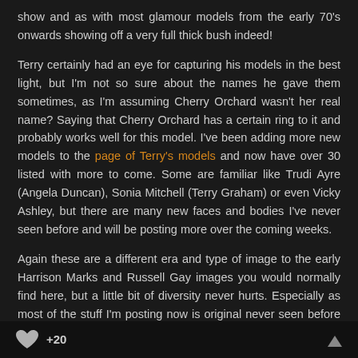show and as with most glamour models from the early 70's onwards showing off a very full thick bush indeed!
Terry certainly had an eye for capturing his models in the best light, but I'm not so sure about the names he gave them sometimes, as I'm assuming Cherry Orchard wasn't her real name? Saying that Cherry Orchard has a certain ring to it and probably works well for this model. I've been adding more new models to the page of Terry's models and now have over 30 listed with more to come. Some are familiar like Trudi Ayre (Angela Duncan), Sonia Mitchell (Terry Graham) or even Vicky Ashley, but there are many new faces and bodies I've never seen before and will be posting more over the coming weeks.
Again these are a different era and type of image to the early Harrison Marks and Russell Gay images you would normally find here, but a little bit of diversity never hurts. Especially as most of the stuff I'm posting now is original never seen before stuff that I've come across on my travels and worth sharing. As always a big thank you to Terry for the dates and names of the new models 🙂
+20